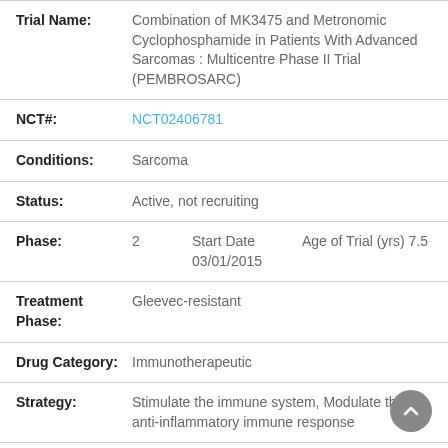| Field | Value |
| --- | --- |
| Trial Name: | Combination of MK3475 and Metronomic Cyclophosphamide in Patients With Advanced Sarcomas : Multicentre Phase II Trial (PEMBROSARC) |
| NCT#: | NCT02406781 |
| Conditions: | Sarcoma |
| Status: | Active, not recruiting |
| Phase: | 2   Start Date 03/01/2015   Age of Trial (yrs) 7.5 |
| Treatment Phase: | Gleevec-resistant |
| Drug Category: | Immunotherapeutic |
| Strategy: | Stimulate the immune system, Modulate the anti-inflammatory immune response |
| Trial Type: | Specifically GIST-related |